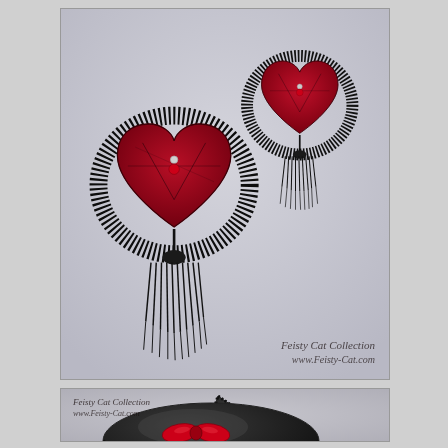[Figure (photo): Two red heart-shaped pasties with black lace overlay and black fringe tassels hanging from silver pins with red bead accents. Displayed on a light grey-blue background. Watermark reads 'Feisty Cat Collection www.Feisty-Cat.com' in italic script at bottom right.]
[Figure (photo): Close-up of a black satin cat ear headband/hat with red lace inner ears and a red satin bow at the center front, trimmed with black crochet lace edging. Watermark reads 'Feisty Cat Collection www.Feisty-Cat.com' in italic script at top left.]